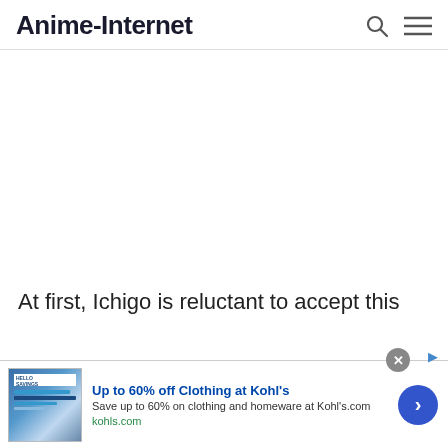Anime-Internet
[Figure (screenshot): Large white/blank area representing a web page content placeholder or loading area]
At first, Ichigo is reluctant to accept this
[Figure (screenshot): Advertisement banner: Up to 60% off Clothing at Kohl's. Save up to 60% on clothing and homeware at Kohls.com. kohls.com]